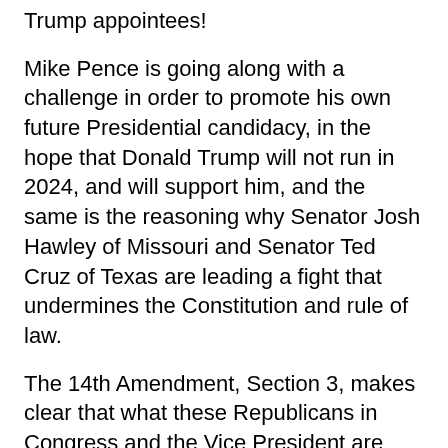Trump appointees!
Mike Pence is going along with a challenge in order to promote his own future Presidential candidacy, in the hope that Donald Trump will not run in 2024, and will support him, and the same is the reasoning why Senator Josh Hawley of Missouri and Senator Ted Cruz of Texas are leading a fight that undermines the Constitution and rule of law.
The 14th Amendment, Section 3, makes clear that what these Republicans in Congress and the Vice President are doing is promoting treason and sedition. By all rights, they should all face arrest, trial, and incarceration, as they are provoking dangerous and reckless behavior by Trump and his supporters, leading to likely confrontations,